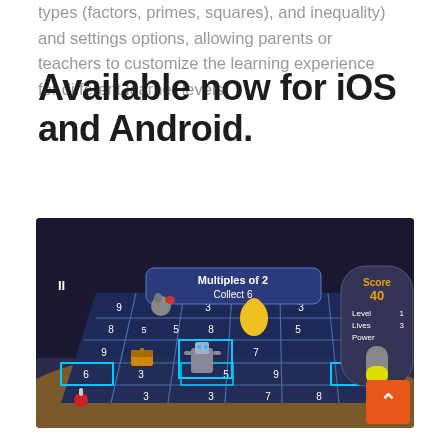types (factors, primes, squares), and inequality) and settings options, allowing parents or teachers to customize the learning experience for different learner levels.
Available now for iOS and Android.
[Figure (screenshot): Mobile game screenshot showing a grid-based math game called 'Multiples of 2, Collect 6' with game characters on a blue grid. Score panel shows Score: 40, Level: 1, Lives: 3, Power bar visible. Numbers visible in grid cells. Orange back-to-top button in bottom right corner.]